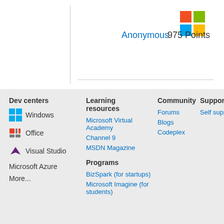[Figure (logo): Microsoft 4-color logo (red, green, blue, yellow squares)]
Anonymous  975 Points
Dev centers
Windows
Office
Visual Studio
Microsoft Azure
More...
Learning resources
Microsoft Virtual Academy
Channel 9
MSDN Magazine
Programs
BizSpark (for startups)
Microsoft Imagine (for students)
Community
Forums
Blogs
Codeplex
Support
Self support